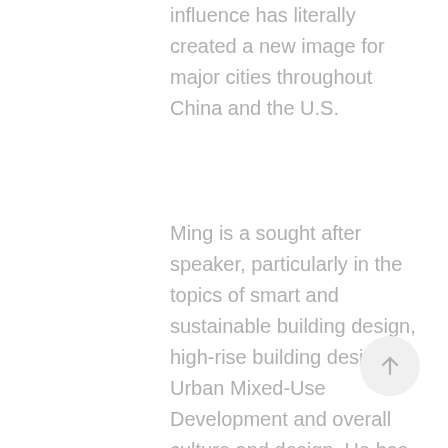influence has literally created a new image for major cities throughout China and the U.S.
Ming is a sought after speaker, particularly in the topics of smart and sustainable building design, high-rise building design, Urban Mixed-Use Development and overall culture and design. He has presented for organizations such as the Council on Tall Buildings and Urban Habitat (CTBUH), the University of Washington, the American Institute of Architects, and